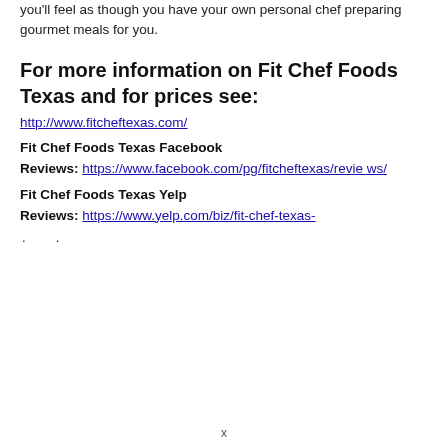you'll feel as though you have your own personal chef preparing gourmet meals for you.
For more information on Fit Chef Foods Texas and for prices see:
http://www.fitcheftexas.com/
Fit Chef Foods Texas Facebook
Reviews: https://www.facebook.com/pg/fitcheftexas/reviews/
Fit Chef Foods Texas Yelp
Reviews: https://www.yelp.com/biz/fit-chef-texas-
x